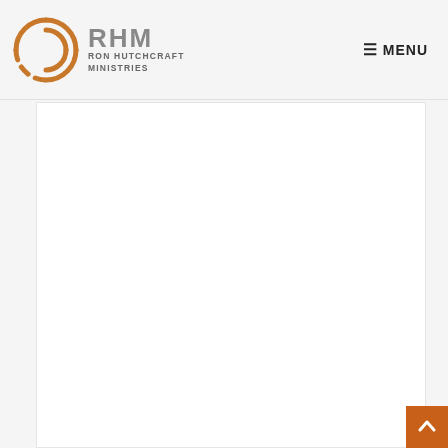RHM RON HUTCHCRAFT MINISTRIES | MENU
[Figure (logo): Ron Hutchcraft Ministries logo with circular arc motif in orange/gold and RHM lettering in gray, alongside text RON HUTCHCRAFT MINISTRIES]
[Figure (other): White content area / main body panel]